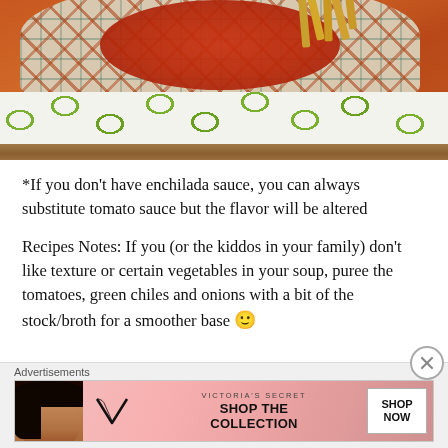[Figure (photo): Photo of a plate with red enchilada soup and tortilla strips on a decorative green and white patterned cloth napkin, on a wooden surface]
*If you don't have enchilada sauce, you can always substitute tomato sauce but the flavor will be altered
Recipes Notes: If you (or the kiddos in your family) don't like texture or certain vegetables in your soup, puree the tomatoes, green chiles and onions with a bit of the stock/broth for a smoother base 🙂
Advertisements
[Figure (photo): Victoria's Secret advertisement banner: model with curly hair on left, VS logo, 'SHOP THE COLLECTION' text, 'SHOP NOW' button on white background]